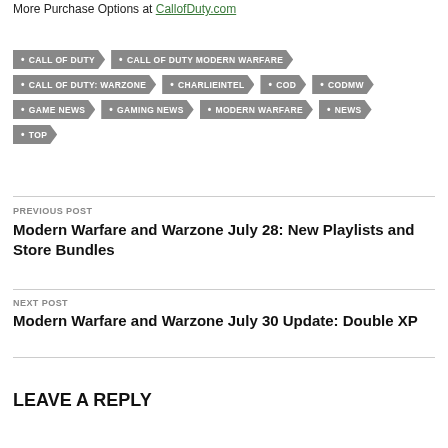More Purchase Options at CallofDuty.com
CALL OF DUTY
CALL OF DUTY MODERN WARFARE
CALL OF DUTY: WARZONE
CHARLIEINTEL
COD
CODMW
GAME NEWS
GAMING NEWS
MODERN WARFARE
NEWS
TOP
PREVIOUS POST
Modern Warfare and Warzone July 28: New Playlists and Store Bundles
NEXT POST
Modern Warfare and Warzone July 30 Update: Double XP
LEAVE A REPLY